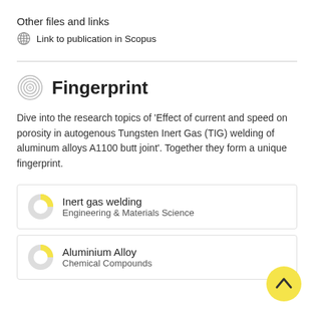Other files and links
Link to publication in Scopus
Fingerprint
Dive into the research topics of 'Effect of current and speed on porosity in autogenous Tungsten Inert Gas (TIG) welding of aluminum alloys A1100 butt joint'. Together they form a unique fingerprint.
Inert gas welding
Engineering & Materials Science
Aluminium Alloy
Chemical Compounds